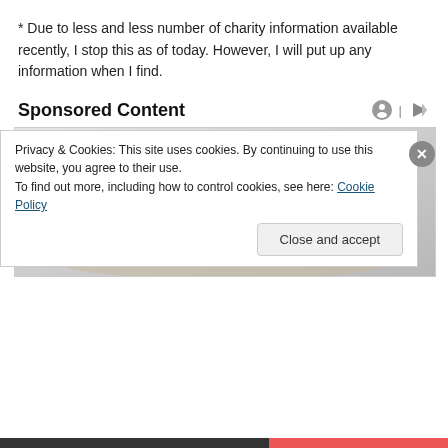* Due to less and less number of charity information available recently, I stop this as of today. However, I will put up any information when I find.
Sponsored Content
[Figure (photo): Advertisement image showing a modern luxury sofa/bed furniture set with speakers and accessories, on a light gray background.]
Privacy & Cookies: This site uses cookies. By continuing to use this website, you agree to their use.
To find out more, including how to control cookies, see here: Cookie Policy
Close and accept